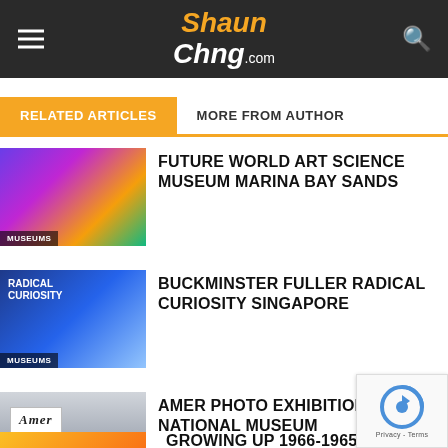ShaunChng.com
RELATED ARTICLES | MORE FROM AUTHOR
[Figure (photo): Colorful digital art exhibit at Future World, Marina Bay Sands museum]
FUTURE WORLD ART SCIENCE MUSEUM MARINA BAY SANDS
[Figure (photo): Man in front of Radical Curiosity exhibition signage]
BUCKMINSTER FULLER RADICAL CURIOSITY SINGAPORE
[Figure (photo): Amer photo exhibition at National Museum entrance]
AMER PHOTO EXHIBITION NATIONAL MUSEUM
[Figure (photo): Growing Up 1966-1965 Exhibition thumbnail (partially visible)]
GROWING UP 1966-1965 EXHIBITION